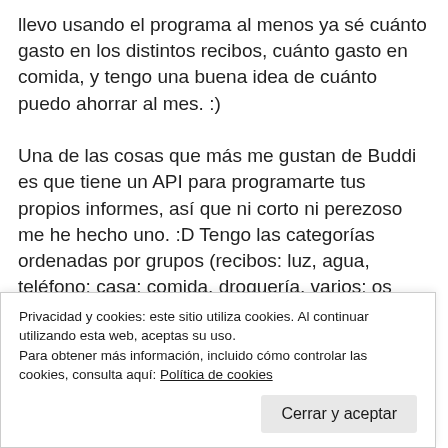llevo usando el programa al menos ya sé cuánto gasto en los distintos recibos, cuánto gasto en comida, y tengo una buena idea de cuánto puedo ahorrar al mes. :)
Una de las cosas que más me gustan de Buddi es que tiene un API para programarte tus propios informes, así que ni corto ni perezoso me he hecho uno. :D Tengo las categorías ordenadas por grupos (recibos: luz, agua, teléfono; casa: comida, droguería, varios; os hacéis una idea...) y Buddi no tiene ningún informe que tenga en cuenta los grupos, muestra todas las categorías al mismo nivel. Este plugin lo que hace es agrupar en el informe las categorías, sumando lo presupuestado y el gasto real de cada categoría hija en la principal, para de un vistazo
s
Privacidad y cookies: este sitio utiliza cookies. Al continuar utilizando esta web, aceptas su uso.
Para obtener más información, incluido cómo controlar las cookies, consulta aquí: Política de cookies
Cerrar y aceptar